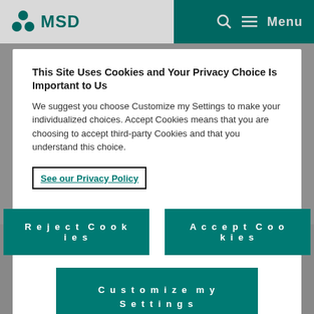MSD
This Site Uses Cookies and Your Privacy Choice Is Important to Us
We suggest you choose Customize my Settings to make your individualized choices. Accept Cookies means that you are choosing to accept third-party Cookies and that you understand this choice.
See our Privacy Policy
Reject Cookies
Accept Cookies
Customize my Settings
been donated to more than 146,000 communities in 29 countries in Africa, six countries in Latin America, and in Yemen.
River blindness transmission has been interrupted - meaning no new cases have